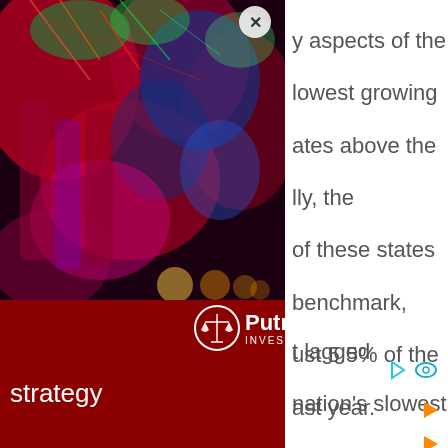[Figure (photo): Colorful blurred bokeh photo of drinks/lights in red, blue, green tones, partially obscured by an overlay panel]
[Figure (logo): Putnam Investments logo — scales of justice icon in circle next to 'Putnam INVESTMENTS' text, white on dark red background]
strategy
y aspects of the lowest growing ates above the lly, the of these states benchmark, ust 5.5% of the ast year. t lagged nation's slowest s in every slow-